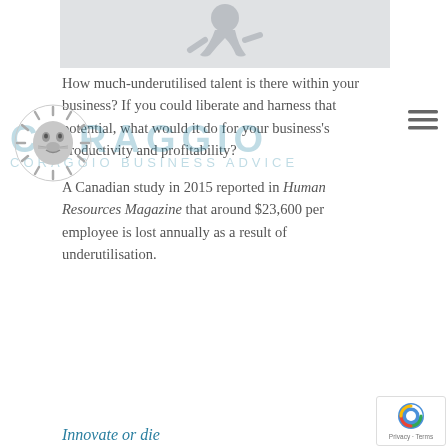[Figure (photo): Partial view of a person in business attire, appearing to float or jump, against a light grey background]
[Figure (logo): Coraggio lion logo — a stylized lion head in grey tones, with the text CORAGGIO overlaid in teal, and subtitle text 'CORAGGIO BUSINESS ADVICE']
How much-underutilised talent is there within your business? If you could liberate and harness that potential, what would it do for your business's productivity and profitability?
A Canadian study in 2015 reported in Human Resources Magazine that around $23,600 per employee is lost annually as a result of underutilisation.
Innovate or die